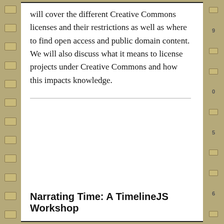will cover the different Creative Commons licenses and their restrictions as well as where to find open access and public domain content. We will also discuss what it means to license projects under Creative Commons and how this impacts knowledge.
Narrating Time: A TimelineJS Workshop